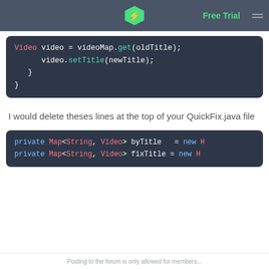Free Trial
[Figure (screenshot): Code block showing: Video video = videoMap.get(oldTitle); video.setTitle(newTitle); } }]
I would delete theses lines at the top of your QuickFix.java file
[Figure (screenshot): Code block showing: private Map<String, Video> byTitle = new H... private Map<String, Video> fixTitle = new H...]
Posting to the forum is only allowed for members...